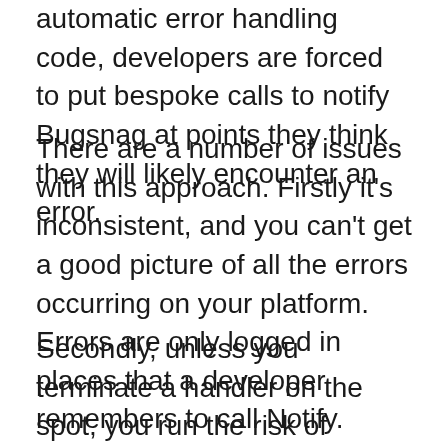automatic error handling code, developers are forced to put bespoke calls to notify Bugsnag at points they think they will likely encounter an error.
There are a number of issues with this approach. Firstly it's inconsistent, and you can't get a good picture of all the errors occurring on your platform. Errors are only logged in places that a developer remembers to call Notify.
Secondly, unless you terminate a handler on the spot, you run the risk of sending a notification for an error multiple times. This can create confusion when reviewing errors.